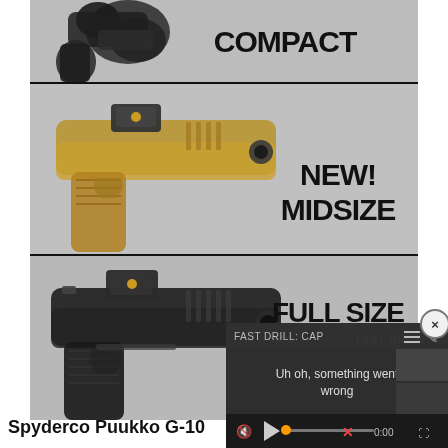[Figure (photo): Product advertisement showing three FN pistol variants on gray background panels. Top panel shows a compact black pistol with 'COMPACT' label. Middle panel shows a tan/FDE midsize pistol with red dot optic and 'NEW! MIDSIZE' label. Bottom panel shows a black full-size pistol with red dot optic and 'FULL SIZE' label.]
Spyderco Puukko G-10
[Figure (screenshot): Video player overlay showing error message 'Uh oh, something went wrong' with FAST DRILL: CAP text, close button (x), mute icon, play button, progress bar with X mark, timestamp 0:00, and fullscreen button.]